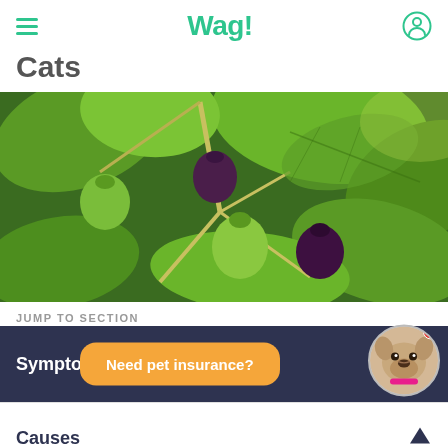Wag!
Cats
[Figure (photo): Close-up photograph of a fig tree branch with green and ripe dark purple figs and large green leaves]
JUMP TO SECTION
Need pet insurance?
Symptoms
Causes